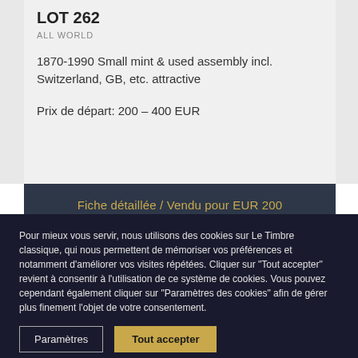LOT 262
ALL WORLD
1870-1990 Small mint & used assembly incl. Switzerland, GB, etc. attractive
Prix de départ: 200 – 400 EUR
Fiche détaillée / Vendu pour EUR 200
Pour mieux vous servir, nous utilisons des cookies sur Le Timbre classique, qui nous permettent de mémoriser vos préférences et notamment d'améliorer vos visites répétées. Cliquer sur "Tout accepter" revient à consentir à l'utilisation de ce système de cookies. Vous pouvez cependant également cliquer sur "Paramètres des cookies" afin de gérer plus finement l'objet de votre consentement.
Paramètres
Tout accepter